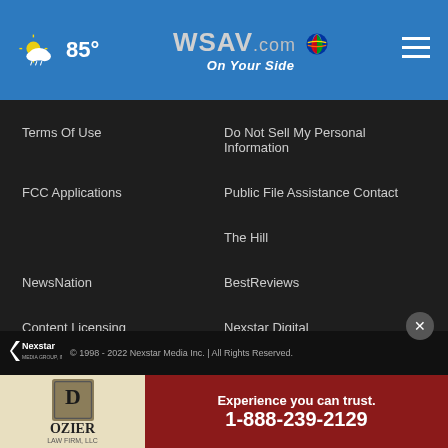WSAV.com On Your Side — 85°
Terms Of Use
Do Not Sell My Personal Information
FCC Applications
Public File Assistance Contact
The Hill
NewsNation
BestReviews
Content Licensing
Nexstar Digital
© 1998 - 2022 Nexstar Media Inc. | All Rights Reserved.
[Figure (screenshot): Dozier Law Firm advertisement banner: Experience you can trust. 1-888-239-2129]